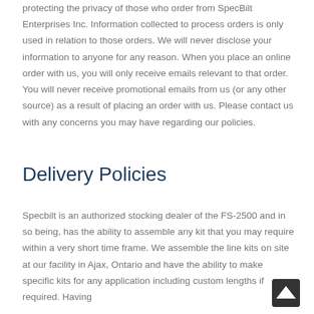protecting the privacy of those who order from SpecBilt Enterprises Inc. Information collected to process orders is only used in relation to those orders. We will never disclose your information to anyone for any reason. When you place an online order with us, you will only receive emails relevant to that order. You will never receive promotional emails from us (or any other source) as a result of placing an order with us. Please contact us with any concerns you may have regarding our policies.
Delivery Policies
Specbilt is an authorized stocking dealer of the FS-2500 and in so being, has the ability to assemble any kit that you may require within a very short time frame. We assemble the line kits on site at our facility in Ajax, Ontario and have the ability to make specific kits for any application including custom lengths if required. Having